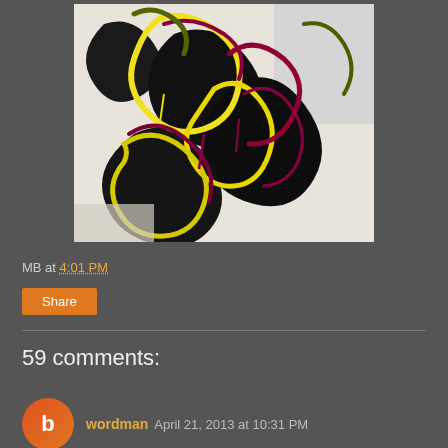[Figure (illustration): Abstract painting with swirling brushstrokes in yellow, dark red/maroon, black, and olive green on a white/light background. Bold, expressionistic style with layered drips and loops.]
MB at 4:01 PM
Share
59 comments:
wordman April 21, 2013 at 10:31 PM